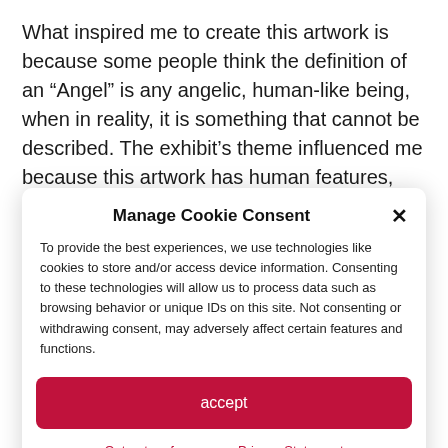What inspired me to create this artwork is because some people think the definition of an “Angel” is any angelic, human-like being, when in reality, it is something that cannot be described. The exhibit’s theme influenced me because this artwork has human features, like eyes, But it also has features that you won’t see in real-life creatures. My method for creating this was with watercolor. I learned how to mix colors while using watercolor. My work is surreal
Manage Cookie Consent
To provide the best experiences, we use technologies like cookies to store and/or access device information. Consenting to these technologies will allow us to process data such as browsing behavior or unique IDs on this site. Not consenting or withdrawing consent, may adversely affect certain features and functions.
accept
Opt-out preferences  Privacy Statement